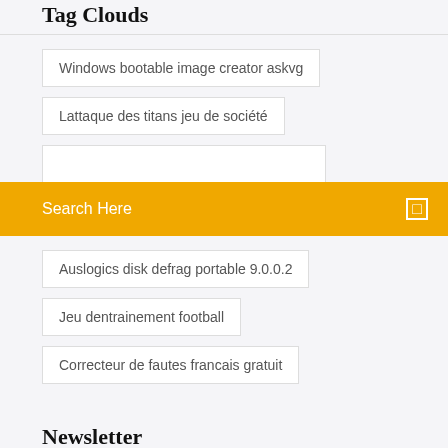Tag Clouds
Windows bootable image creator askvg
Lattaque des titans jeu de société
Search Here
Auslogics disk defrag portable 9.0.0.2
Jeu dentrainement football
Correcteur de fautes francais gratuit
Newsletter